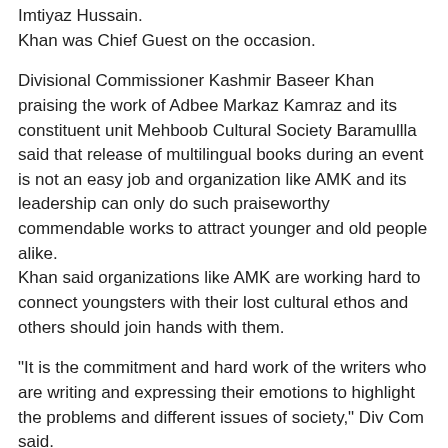Imtiyaz Hussain.
Khan was Chief Guest on the occasion.
Divisional Commissioner Kashmir Baseer Khan praising the work of Adbee Markaz Kamraz and its constituent unit Mehboob Cultural Society Baramullla said that release of multilingual books during an event is not an easy job and organization like AMK and its leadership can only do such praiseworthy commendable works to attract younger and old people alike.
Khan said organizations like AMK are working hard to connect youngsters with their lost cultural ethos and others should join hands with them.
"It is the commitment and hard work of the writers who are writing and expressing their emotions to highlight the problems and different issues of society," Div Com said.
Divisional Commissioner assured literary organizations of all possible help "whenever and wherever they feel the need".
Principal Degree College Baramulla while expressing happiness over the conferences said that it is their privilege to host the event in which the books of college's former faculty and students are being released by the leadership and member of the organization like AMK